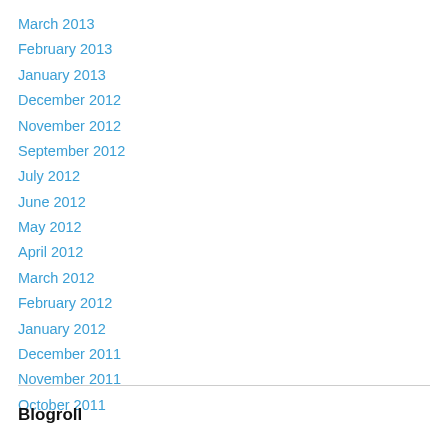March 2013
February 2013
January 2013
December 2012
November 2012
September 2012
July 2012
June 2012
May 2012
April 2012
March 2012
February 2012
January 2012
December 2011
November 2011
October 2011
Blogroll